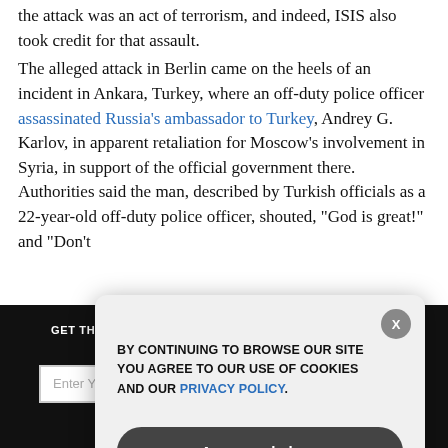the attack was an act of terrorism, and indeed, ISIS also took credit for that assault.
The alleged attack in Berlin came on the heels of an incident in Ankara, Turkey, where an off-duty police officer assassinated Russia's ambassador to Turkey, Andrey G. Karlov, in apparent retaliation for Moscow's involvement in Syria, in support of the official government there. Authorities said the man, described by Turkish officials as a 22-year-old off-duty police officer, shouted, “God is great!” and “Don’t
[Figure (screenshot): Dark newsletter subscription banner with 'GET THE WORLD'S BEST NATURAL HEALTH NEWSLETTER DELIVERED STRAIGHT TO YOUR INBOX' text, email input field, and SUBSCRIBE button]
[Figure (screenshot): Cookie consent popup overlay saying 'BY CONTINUING TO BROWSE OUR SITE YOU AGREE TO OUR USE OF COOKIES AND OUR PRIVACY POLICY.' with an 'Agree and close' button and an X close button]